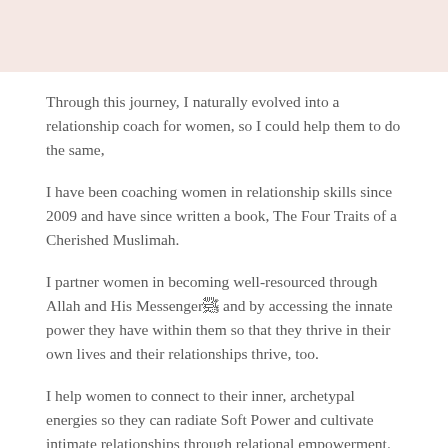[Figure (other): Decorative pink/blush header band at the top of the page]
Through this journey, I naturally evolved into a relationship coach for women, so I could help them to do the same,
I have been coaching women in relationship skills since 2009 and have since written a book, The Four Traits of a Cherished Muslimah.
I partner women in becoming well-resourced through Allah and His Messenger ﷺ and by accessing the innate power they have within them so that they thrive in their own lives and their relationships thrive, too.
I help women to connect to their inner, archetypal energies so they can radiate Soft Power and cultivate intimate relationships through relational empowerment.